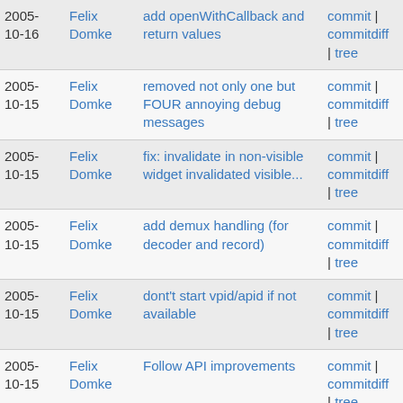| Date | Author | Message | Links |
| --- | --- | --- | --- |
| 2005-10-16 | Felix Domke | add openWithCallback and return values | commit | commitdiff | tree |
| 2005-10-15 | Felix Domke | removed not only one but FOUR annoying debug messages | commit | commitdiff | tree |
| 2005-10-15 | Felix Domke | fix: invalidate in non-visible widget invalidated visible... | commit | commitdiff | tree |
| 2005-10-15 | Felix Domke | add demux handling (for decoder and record) | commit | commitdiff | tree |
| 2005-10-15 | Felix Domke | dont't start vpid/apid if not available | commit | commitdiff | tree |
| 2005-10-15 | Felix Domke | Follow API improvements | commit | commitdiff | tree |